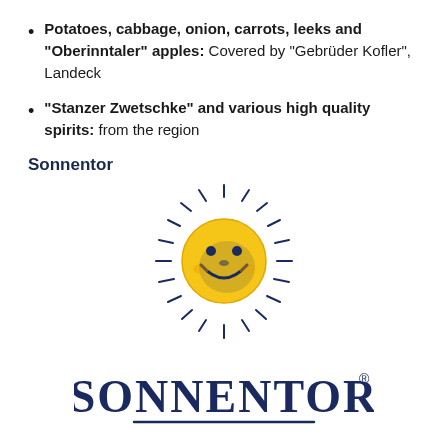Potatoes, cabbage, onion, carrots, leeks and "Oberinntaler" apples: Covered by "Gebrüder Kofler", Landeck
"Stanzer Zwetschke" and various high quality spirits: from the region
Sonnentor
[Figure (logo): Sonnentor logo: a smiling sun face with rays above the word SONNENTOR in dark navy blue serif letters with a registered trademark symbol]